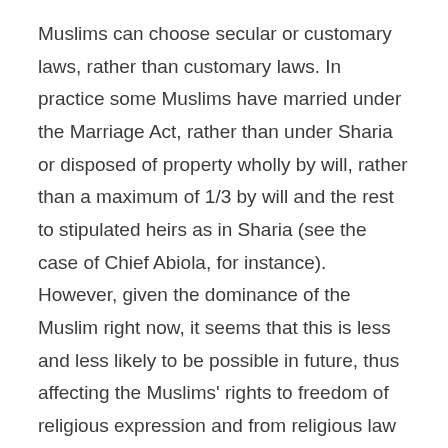Muslims can choose secular or customary laws, rather than customary laws. In practice some Muslims have married under the Marriage Act, rather than under Sharia or disposed of property wholly by will, rather than a maximum of 1/3 by will and the rest to stipulated heirs as in Sharia (see the case of Chief Abiola, for instance). However, given the dominance of the Muslim right now, it seems that this is less and less likely to be possible in future, thus affecting the Muslims' rights to freedom of religious expression and from religious law (constitution) or that there shall be no compulsion in religion (Qu'ranic assurance).